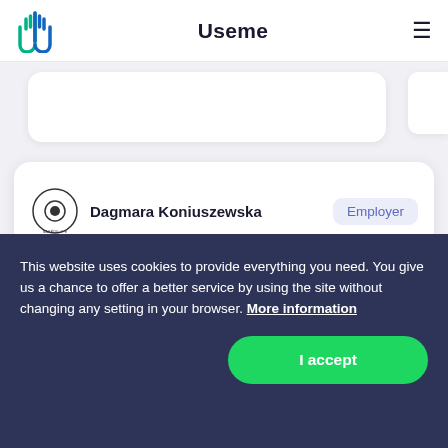Useme
Dagmara Koniuszewska  Employer
Job category:
This website uses cookies to provide everything you need. You give us a chance to offer a better service by using the site without changing any setting in your browser. More information
I accept